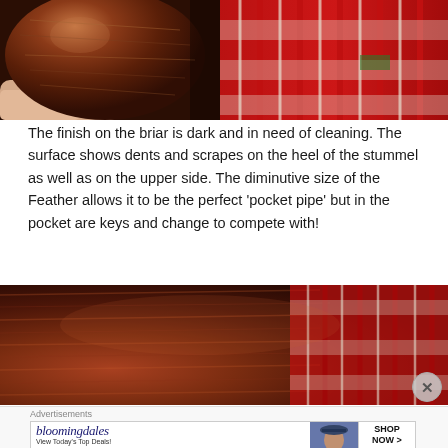[Figure (photo): Close-up photo of a dark briar wood pipe bowl held in a hand, with a red and white patterned rug in the background.]
The finish on the briar is dark and in need of cleaning.  The surface shows dents and scrapes on the heel of the stummel as well as on the upper side.  The diminutive size of the Feather allows it to be the perfect 'pocket pipe' but in the pocket are keys and change to compete with!
[Figure (photo): Close-up photo of the briar pipe stummel surface showing dark wood grain texture, with red patterned rug visible in background.]
Advertisements
[Figure (other): Bloomingdale's advertisement banner: 'bloomingdales / View Today's Top Deals!' with image of woman in hat and 'SHOP NOW >' button.]